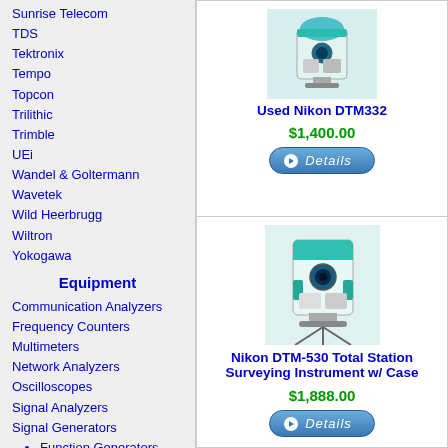Sunrise Telecom
TDS
Tektronix
Tempo
Topcon
Trilithic
Trimble
UEi
Wandel & Goltermann
Wavetek
Wild Heerbrugg
Wiltron
Yokogawa
Equipment
Communication Analyzers
Frequency Counters
Multimeters
Network Analyzers
Oscilloscopes
Signal Analyzers
Signal Generators
Function Generators
Pattern Generators
Waveform Generators
Spectrum Analyzers
Theodolites
Thermal Imaging
Total Stations
Used Nikon DTM332
$1,400.00
[Figure (photo): Photo of Used Nikon DTM332 surveying instrument]
Nikon DTM-530 Total Station Surveying Instrument w/ Case
$1,888.00
[Figure (photo): Photo of Nikon DTM-530 Total Station surveying instrument]